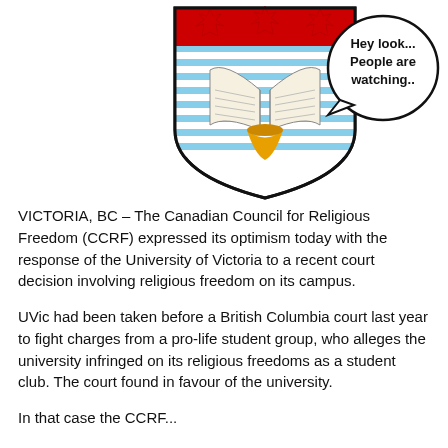[Figure (illustration): Illustration of a university crest/coat of arms (University of Victoria style) showing red maple leaves at top, an open book on a blue and white striped background, and a yellow torch/lamp at bottom. A comic-style speech bubble to the upper right reads 'Hey look... People are watching..']
VICTORIA, BC – The Canadian Council for Religious Freedom (CCRF) expressed its optimism today with the response of the University of Victoria to a recent court decision involving religious freedom on its campus.
UVic had been taken before a British Columbia court last year to fight charges from a pro-life student group, who alleges the university infringed on its religious freedoms as a student club. The court found in favour of the university.
In that case the CCRF...